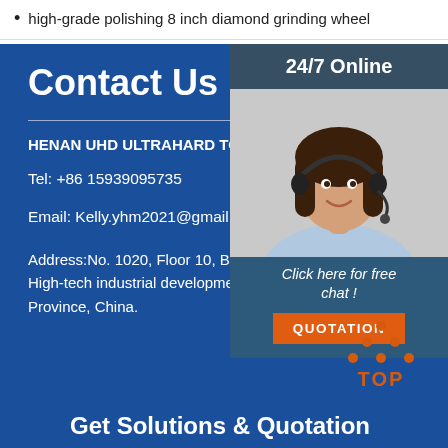high-grade polishing 8 inch diamond grinding wheel
Contact Us
HENAN UHD ULTRAHARD TOOLS CO., LTD
Tel: +86 15939095735
Email: Kelly.yhm2021@gmail.com
Address:No. 1020, Floor 10, Building A, No. 55, Lia High-tech industrial development zone, Zhengzhou Province, China.
[Figure (photo): Customer service representative woman with headset smiling, with 24/7 Online label and Click here for free chat button and QUOTATION button]
[Figure (logo): TOP logo with orange dot pyramid graphic]
Get Solutions & Quotation